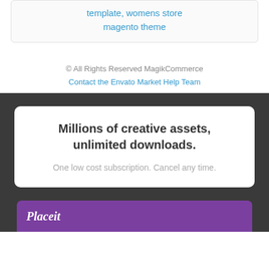template, womens store magento theme
© All Rights Reserved MagikCommerce
Contact the Envato Market Help Team
Millions of creative assets, unlimited downloads.
One low cost subscription. Cancel any time.
[Figure (illustration): Placeit banner with purple background and white italic logo text]